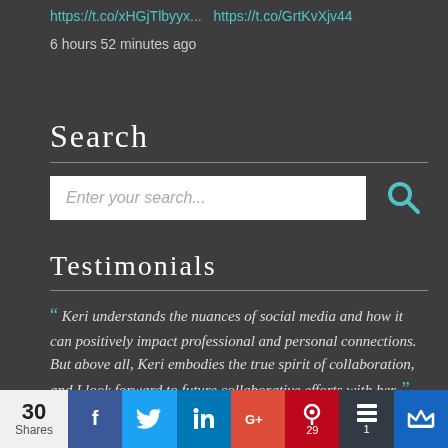https://t.co/xHGjTlbyyx... https://t.co/GrtKvXjv44
6 hours 52 minutes ago
Search
[Figure (screenshot): Search input box with placeholder 'Enter your search...' and a teal search icon button]
Testimonials
“ Keri understands the nuances of social media and how it can positively impact professional and personal connections. But above all, Keri embodies the true spirit of collaboration, and I look forward to future collaborative efforts with her. ”
Debbie Laskey, MBA, Marketing & Social Media
30 Shares | Facebook | Twitter | LinkedIn | Google+ | Pinterest 29 | Buffer 1 | More